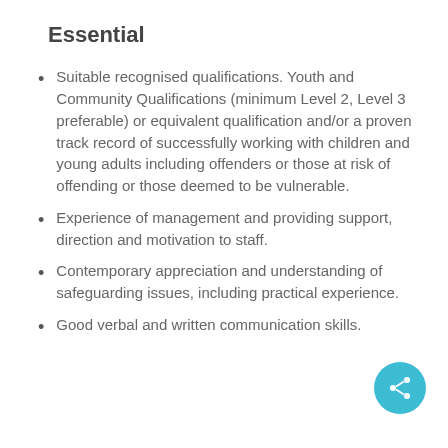Essential
Suitable recognised qualifications. Youth and Community Qualifications (minimum Level 2, Level 3 preferable) or equivalent qualification and/or a proven track record of successfully working with children and young adults including offenders or those at risk of offending or those deemed to be vulnerable.
Experience of management and providing support, direction and motivation to staff.
Contemporary appreciation and understanding of safeguarding issues, including practical experience.
Good verbal and written communication skills.